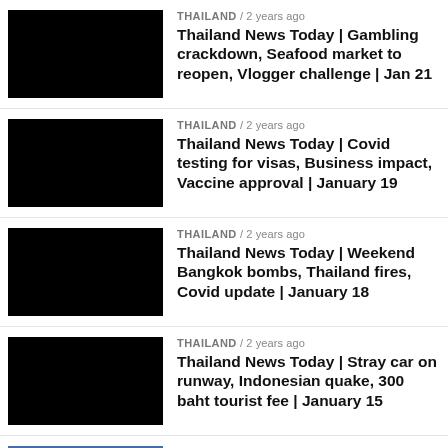THAILAND / 2 years ago — Thailand News Today | Gambling crackdown, Seafood market to reopen, Vlogger challenge | Jan 21
THAILAND / 2 years ago — Thailand News Today | Covid testing for visas, Business impact, Vaccine approval | January 19
THAILAND / 2 years ago — Thailand News Today | Weekend Bangkok bombs, Thailand fires, Covid update | January 18
THAILAND / 2 years ago — Thailand News Today | Stray car on runway, Indonesian quake, 300 baht tourist fee | January 15
THAILAND / 2 years ago — Thailand News Today | Governor off respirator, sex-trafficking arrest, condo prices falling | January 14